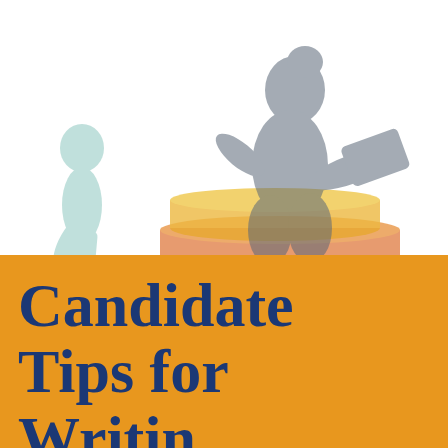[Figure (illustration): Faded silhouette illustration of a child figure on the left (light teal/mint color) and an adult figure (dark grey/slate) sitting on stacked books (orange and red-outlined books) on the right, against a white background. The adult appears to be reading or holding a book.]
Candidate Tips for Writing